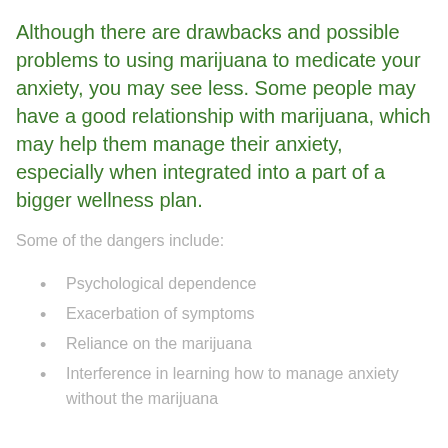Although there are drawbacks and possible problems to using marijuana to medicate your anxiety, you may see less. Some people may have a good relationship with marijuana, which may help them manage their anxiety, especially when integrated into a part of a bigger wellness plan.
Some of the dangers include:
Psychological dependence
Exacerbation of symptoms
Reliance on the marijuana
Interference in learning how to manage anxiety without the marijuana